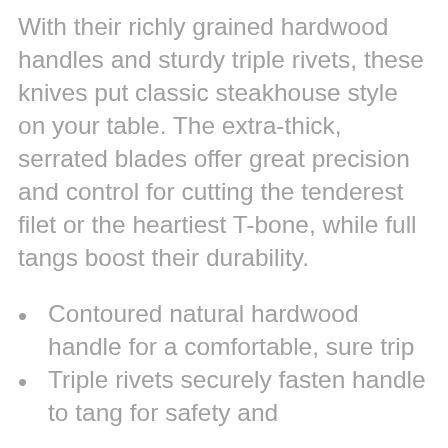With their richly grained hardwood handles and sturdy triple rivets, these knives put classic steakhouse style on your table. The extra-thick, serrated blades offer great precision and control for cutting the tenderest filet or the heartiest T-bone, while full tangs boost their durability.
Contoured natural hardwood handle for a comfortable, sure trip
Triple rivets securely fasten handle to tang for safety and